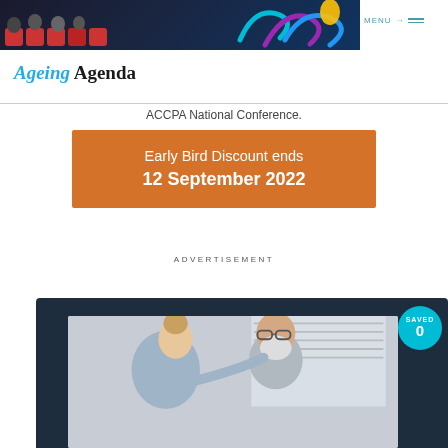[Figure (photo): Website header showing people seated in red theater chairs alongside colorful arc/loop brand graphics on dark background, with MENU navigation]
MENU →
[Figure (logo): Ageing Agenda logo — 'Ageing' in cyan italic bold, 'Agenda' in black bold]
ACCPA National Conference.
[Figure (infographic): Orange banner advertisement reading: Early Bird Discount ends / 12 September 2022]
ADVERTISEMENT
[Figure (photo): Dark navy card containing a photo of a female caregiver leaning toward an elderly bearded man, with a cyan 'SAVED 0' badge in the top right corner]